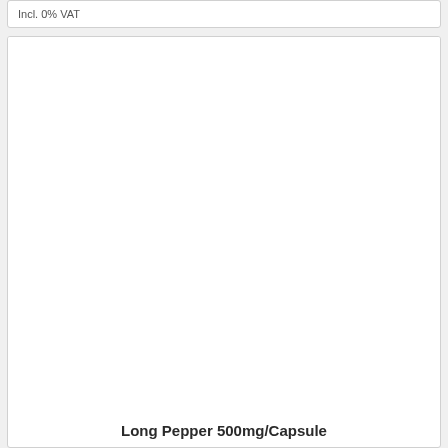Incl. 0% VAT
[Figure (photo): Product image area for Long Pepper 500mg/Capsule — white/blank image placeholder]
Long Pepper 500mg/Capsule